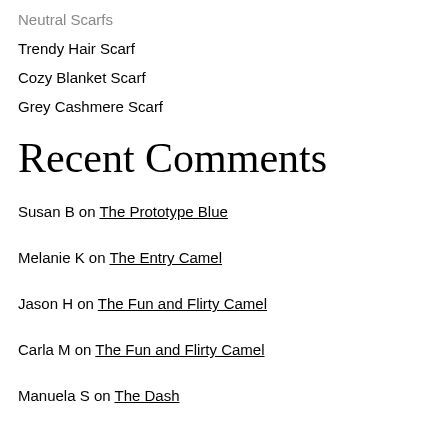Neutral Scarfs
Trendy Hair Scarf
Cozy Blanket Scarf
Grey Cashmere Scarf
Recent Comments
Susan B on The Prototype Blue
Melanie K on The Entry Camel
Jason H on The Fun and Flirty Camel
Carla M on The Fun and Flirty Camel
Manuela S on The Dash